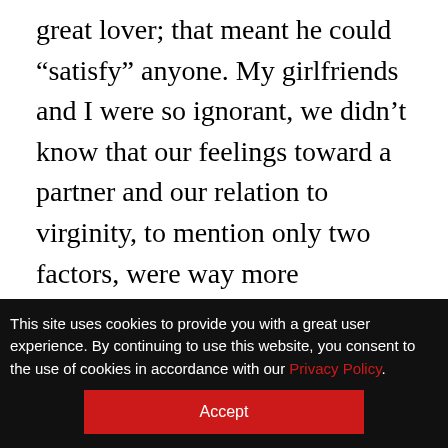great lover; that meant he could "satisfy" anyone. My girlfriends and I were so ignorant, we didn't know that our feelings toward a partner and our relation to virginity, to mention only two factors, were way more important.)

As they age, women acquire experiences that may mature their judgment and lower their risk-taking. They get more power (from jobs, money, the raising of children, mentoring). A
This site uses cookies to provide you with a great user experience. By continuing to use this website, you consent to the use of cookies in accordance with our Privacy Policy.
Accept